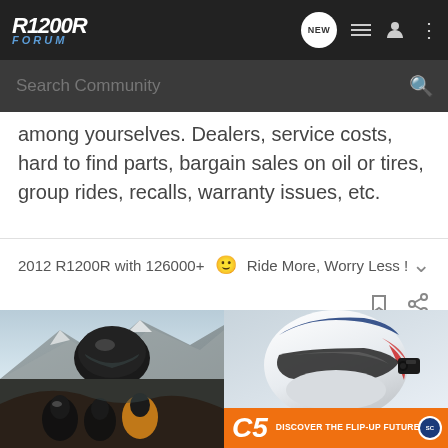R1200R FORUM
Search Community
among yourselves. Dealers, service costs, hard to find parts, bargain sales on oil or tires, group rides, recalls, warranty issues, etc.
2012 R1200R with 126000+ 🙂 Ride More, Worry Less !
[Figure (photo): Advertisement banner showing motorcycle helmets - left side shows a rider helmet in mountain setting and group of riders, right side shows a white/blue/red helmet (C5 model) with orange 'C5 DISCOVER THE FLIP-UP FUTURE' branding]